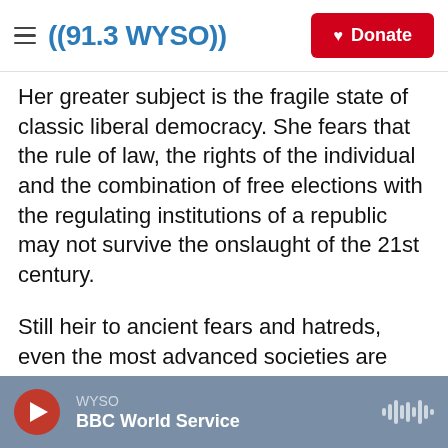((91.3 WYSO)) | Donate
Her greater subject is the fragile state of classic liberal democracy. She fears that the rule of law, the rights of the individual and the combination of free elections with the regulating institutions of a republic may not survive the onslaught of the 21st century.
Still heir to ancient fears and hatreds, even the most advanced societies are straining under repeated blows: protracted wars, economic disruptions, migrating populations, and now a global pandemic.
These challenges are complicated by the power
WYSO | BBC World Service